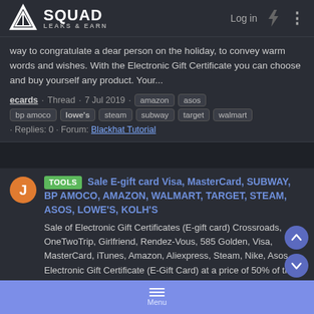SQUAD LEAKS & EARN — Log in
way to congratulate a dear person on the holiday, to convey warm words and wishes. With the Electronic Gift Certificate you can choose and buy yourself any product. Your...
ecards · Thread · 7 Jul 2019 · amazon asos bp amoco lowe's steam subway target walmart · Replies: 0 · Forum: Blackhat Tutorial
[TOOLS] Sale E-gift card Visa, MasterCard, SUBWAY, BP AMOCO, AMAZON, WALMART, TARGET, STEAM, ASOS, LOWE'S, KOLH'S
Sale of Electronic Gift Certificates (E-gift card) Crossroads, OneTwoTrip, Girlfriend, Rendez-Vous, 585 Golden, Visa, MasterCard, iTunes, Amazon, Aliexpress, Steam, Nike, Asos Electronic Gift Certificate (E-Gift Card) at a price of 50% of the nominal, it is an ideal gift for any occasion.
Menu